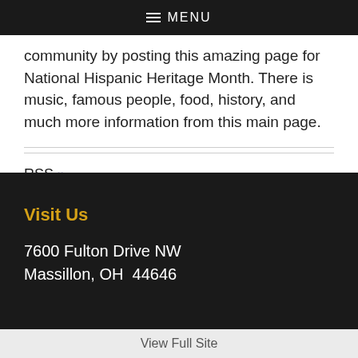MENU
community by posting this amazing page for National Hispanic Heritage Month. There is music, famous people, food, history, and much more information from this main page.
RSS »
Visit Us
7600 Fulton Drive NW
Massillon, OH  44646
View Full Site